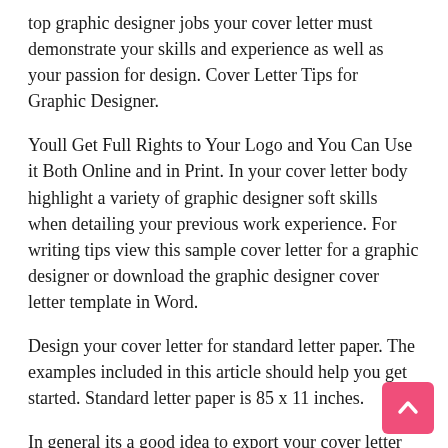top graphic designer jobs your cover letter must demonstrate your skills and experience as well as your passion for design. Cover Letter Tips for Graphic Designer.
Youll Get Full Rights to Your Logo and You Can Use it Both Online and in Print. In your cover letter body highlight a variety of graphic designer soft skills when detailing your previous work experience. For writing tips view this sample cover letter for a graphic designer or download the graphic designer cover letter template in Word.
Design your cover letter for standard letter paper. The examples included in this article should help you get started. Standard letter paper is 85 x 11 inches.
In general its a good idea to export your cover letter in 300 dpi resolution. Now lets see two samples of a good cover letter of a Graphic Designer. Even though a logo designer is related more to art however someone needs to have excellent skill on research skills.